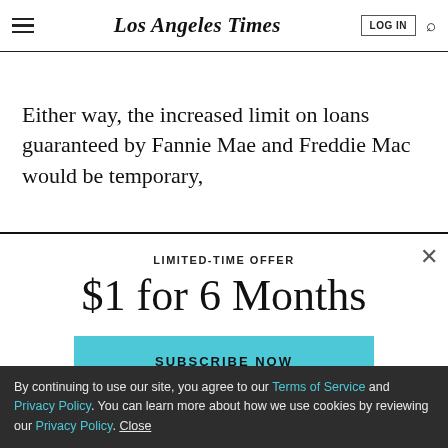Los Angeles Times — LOG IN
Either way, the increased limit on loans guaranteed by Fannie Mae and Freddie Mac would be temporary,
LIMITED-TIME OFFER
$1 for 6 Months
SUBSCRIBE NOW
By continuing to use our site, you agree to our Terms of Service and Privacy Policy. You can learn more about how we use cookies by reviewing our Privacy Policy. Close